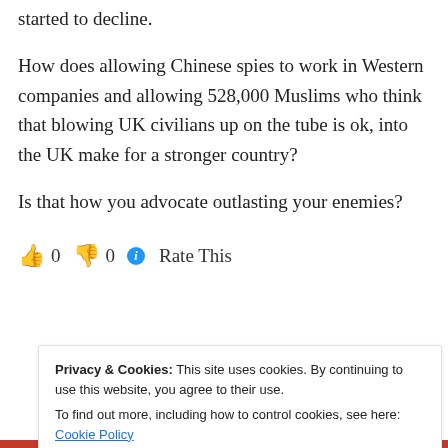started to decline.
How does allowing Chinese spies to work in Western companies and allowing 528,000 Muslims who think that blowing UK civilians up on the tube is ok, into the UK make for a stronger country?
Is that how you advocate outlasting your enemies?
👍 0 👎 0 ℹ Rate This
Privacy & Cookies: This site uses cookies. By continuing to use this website, you agree to their use. To find out more, including how to control cookies, see here: Cookie Policy